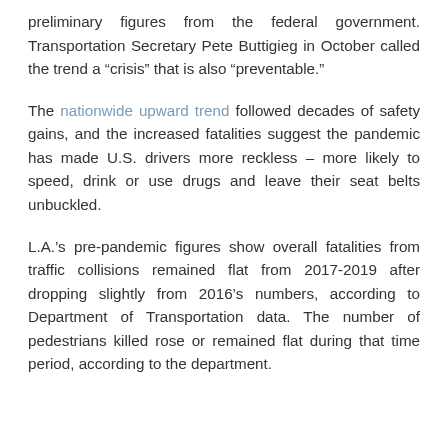preliminary figures from the federal government. Transportation Secretary Pete Buttigieg in October called the trend a “crisis” that is also “preventable.”
The nationwide upward trend followed decades of safety gains, and the increased fatalities suggest the pandemic has made U.S. drivers more reckless – more likely to speed, drink or use drugs and leave their seat belts unbuckled.
L.A.’s pre-pandemic figures show overall fatalities from traffic collisions remained flat from 2017-2019 after dropping slightly from 2016’s numbers, according to Department of Transportation data. The number of pedestrians killed rose or remained flat during that time period, according to the department.